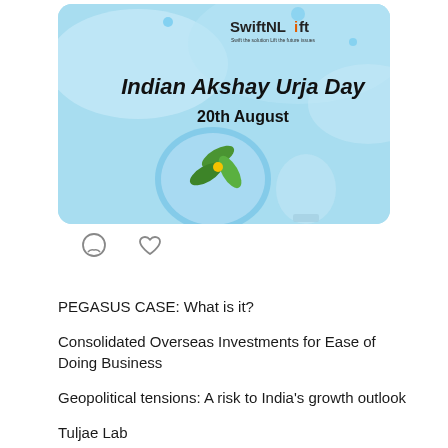[Figure (illustration): SwiftNLift branded card for Indian Akshay Urja Day, 20th August. Light blue background with water droplet and pinwheel illustration.]
[Figure (illustration): Comment and heart/like icons below the card image.]
PEGASUS CASE: What is it?
Consolidated Overseas Investments for Ease of Doing Business
Geopolitical tensions: A risk to India’s growth outlook
Tuljae Lab